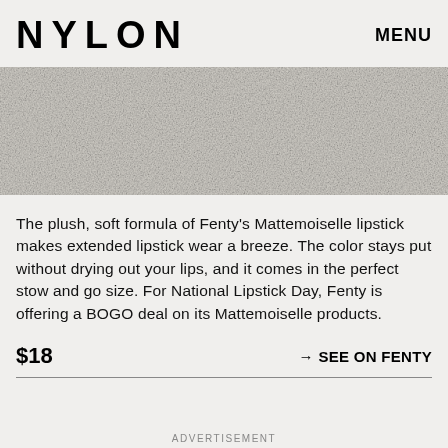NYLON   MENU
[Figure (photo): Grainy light gray textured surface, close-up photo of a neutral stone or paper texture]
The plush, soft formula of Fenty's Mattemoiselle lipstick makes extended lipstick wear a breeze. The color stays put without drying out your lips, and it comes in the perfect stow and go size. For National Lipstick Day, Fenty is offering a BOGO deal on its Mattemoiselle products.
$18
→ SEE ON FENTY
ADVERTISEMENT